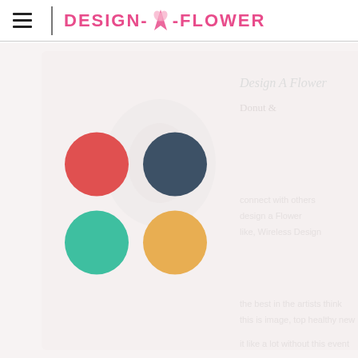DESIGN-A-FLOWER
[Figure (screenshot): A faded/watermarked screenshot of the Design-A-Flower website, showing blurred background text and a floral image, with four colored circles overlaid: red (top-left), navy/dark teal (top-right), teal/green (bottom-left), and golden yellow (bottom-right).]